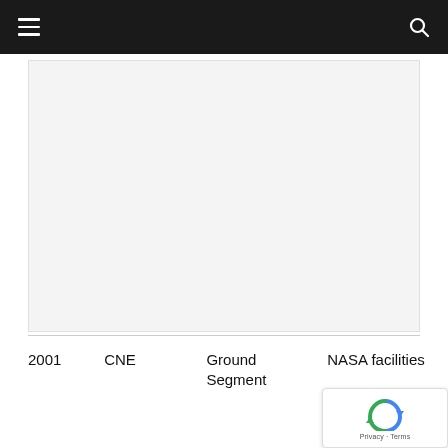Navigation bar with hamburger menu and search icon
[Figure (other): Large light gray empty content area, possibly a placeholder for an image or embedded content]
2001
CNE
Ground Segment
NASA facilities
[Figure (other): reCAPTCHA badge with Google logo and Privacy · Terms text]